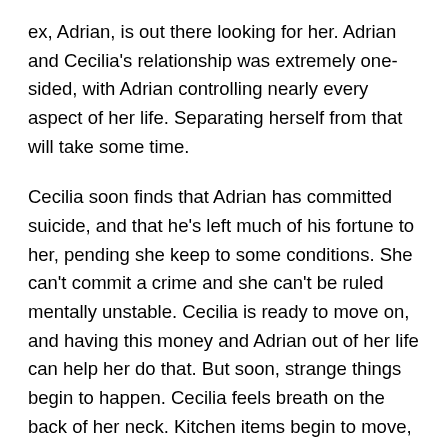ex, Adrian, is out there looking for her. Adrian and Cecilia's relationship was extremely one-sided, with Adrian controlling nearly every aspect of her life. Separating herself from that will take some time.
Cecilia soon finds that Adrian has committed suicide, and that he's left much of his fortune to her, pending she keep to some conditions. She can't commit a crime and she can't be ruled mentally unstable. Cecilia is ready to move on, and having this money and Adrian out of her life can help her do that. But soon, strange things begin to happen. Cecilia feels breath on the back of her neck. Kitchen items begin to move, seemingly by themselves. Someone else is in the house with her. Is she crazy? Is it a ghost? Or is Adrian not ready to let her go just yet?
The Invisible Man is a masterclass in suspense. We know